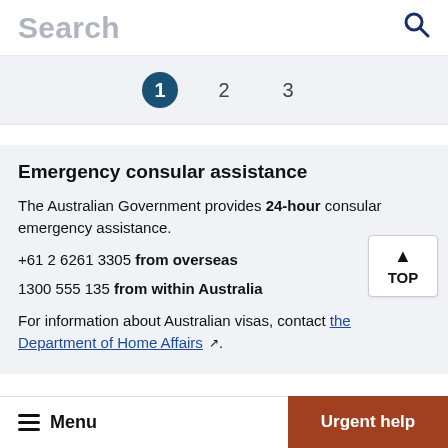Search
1  2  3
Emergency consular assistance
The Australian Government provides 24-hour consular emergency assistance.
+61 2 6261 3305 from overseas
1300 555 135 from within Australia
For information about Australian visas, contact the Department of Home Affairs.
Menu  Urgent help